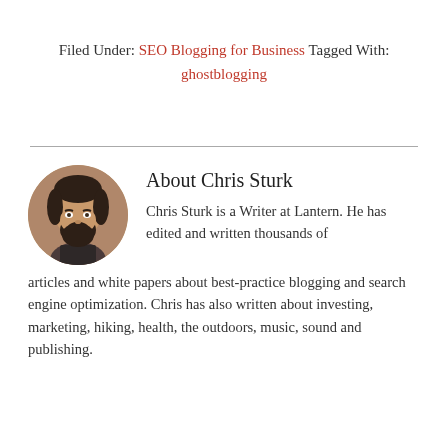Filed Under: SEO Blogging for Business Tagged With: ghostblogging
[Figure (photo): Circular headshot photo of Chris Sturk, a man with dark hair and a full beard, wearing a dark shirt against a brownish background.]
About Chris Sturk
Chris Sturk is a Writer at Lantern. He has edited and written thousands of articles and white papers about best-practice blogging and search engine optimization. Chris has also written about investing, marketing, hiking, health, the outdoors, music, sound and publishing.